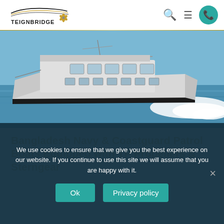[Figure (logo): Teignbridge logo with stylized boat lines and propeller icon, text reads TEIGNBRIDGE]
[Figure (photo): A white patrol boat speeding through water, leaving a large wake, photographed from the side against a blue sea background]
Bangladesh Navy & Coastguard Patrol Boats Equipped with TP Propellers & Sterngear
We use cookies to ensure that we give you the best experience on our website. If you continue to use this site we will assume that you are happy with it.